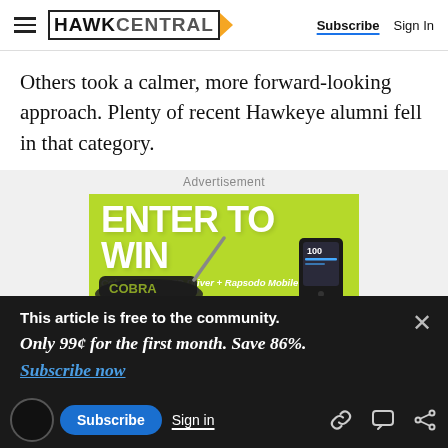HAWK CENTRAL | Subscribe | Sign In
Others took a calmer, more forward-looking approach. Plenty of recent Hawkeye alumni fell in that category.
Advertisement
[Figure (illustration): Green advertisement banner reading 'ENTER TO WIN' with subtitle 'Cobra RADSPEED Driver + Rapsodo Mobile Launch Monitor' and images of a golf driver and a launch monitor device]
This article is free to the community.
Only 99¢ for the first month. Save 86%.
Subscribe now
Subscribe | Sign in